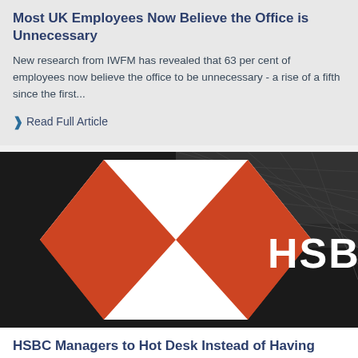Most UK Employees Now Believe the Office is Unnecessary
New research from IWFM has revealed that 63 per cent of employees now believe the office to be unnecessary - a rise of a fifth since the first...
❯ Read Full Article
[Figure (photo): HSBC logo sign on building facade - large orange hexagonal HSBC logo on dark background with glass ceiling structure visible]
HSBC Managers to Hot Desk Instead of Having Private Offices